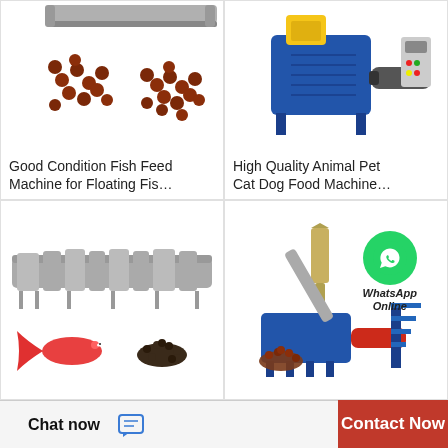[Figure (photo): Fish feed pellets (small brown round pellets) and a conveyor machine top, white background]
Good Condition Fish Feed Machine for Floating Fis…
[Figure (photo): Blue and yellow industrial animal pet cat dog food extrusion machine on white background]
High Quality Animal Pet Cat Dog Food Machine…
[Figure (photo): Large stainless steel industrial fish feed processing line machinery, with a goldfish and dark fish pellets in the lower portion]
[Figure (photo): Blue industrial fish/pet food extruder machine with red components and staircase, pile of brown fish feed pellets, WhatsApp icon overlay with 'WhatsApp Online' text]
Chat now   Contact Now